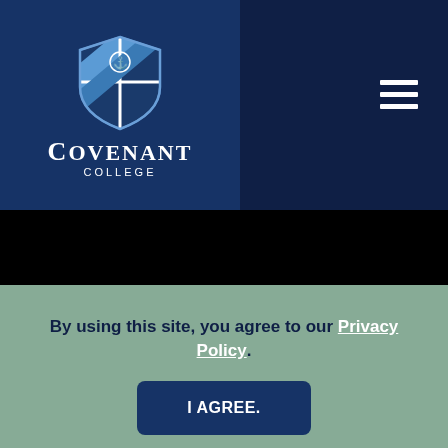[Figure (logo): Covenant College shield logo with cross and diagonal stripes in blue and white, with text 'COVENANT COLLEGE' below]
By using this site, you agree to our Privacy Policy.
I AGREE.